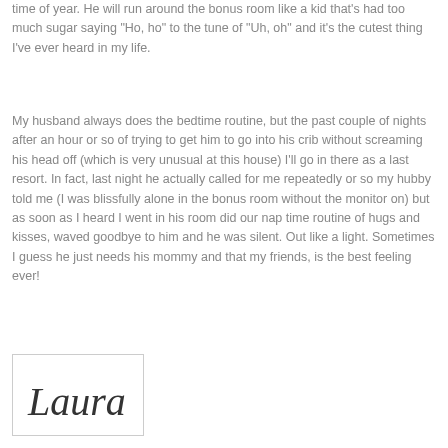time of year. He will run around the bonus room like a kid that's had too much sugar saying "Ho, ho" to the tune of "Uh, oh" and it's the cutest thing I've ever heard in my life.
My husband always does the bedtime routine, but the past couple of nights after an hour or so of trying to get him to go into his crib without screaming his head off (which is very unusual at this house) I'll go in there as a last resort. In fact, last night he actually called for me repeatedly or so my hubby told me (I was blissfully alone in the bonus room without the monitor on) but as soon as I heard I went in his room did our nap time routine of hugs and kisses, waved goodbye to him and he was silent. Out like a light. Sometimes I guess he just needs his mommy and that my friends, is the best feeling ever!
[Figure (illustration): Handwritten cursive signature reading 'Laura' inside a bordered box]